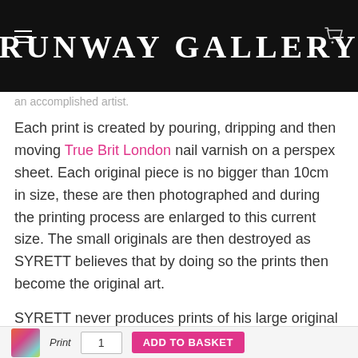RUNWAY GALLERY
an accomplished artist.
Each print is created by pouring, dripping and then moving True Brit London nail varnish on a perspex sheet. Each original piece is no bigger than 10cm in size, these are then photographed and during the printing process are enlarged to this current size. The small originals are then destroyed as SYRETT believes that by doing so the prints then become the original art.
SYRETT never produces prints of his large original pieces, they are exclusively original.
Further Details